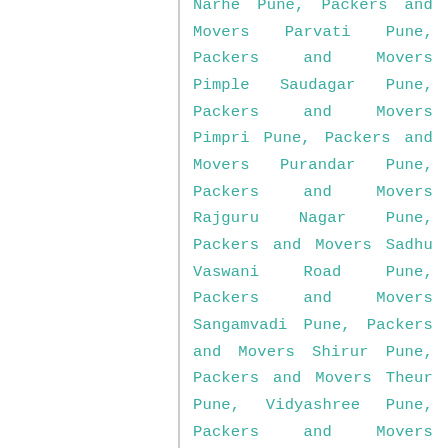Narhe Pune, Packers and Movers Parvati Pune, Packers and Movers Pimple Saudagar Pune, Packers and Movers Pimpri Pune, Packers and Movers Purandar Pune, Packers and Movers Rajguru Nagar Pune, Packers and Movers Sadhu Vaswani Road Pune, Packers and Movers Sangamvadi Pune, Packers and Movers Shirur Pune, Packers and Movers Theur Pune, Vidyashree Pune, Packers and Movers Vidyut Nagar Pune, Packers and Movers Viman Nagar Pune, Packers and Movers Vishrantwadi Pune, Packers and Movers Vithalwadi Road Pune, Packers and Movers Wadgaon Sheri Pune, Packers and Movers Wakad Pune, Packers